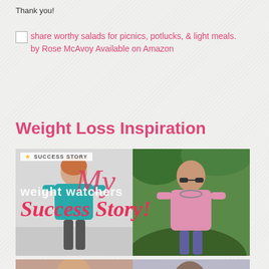Thank you!
share worthy salads for picnics, potlucks, & light meals. by Rose McAvoy Available on Amazon
Weight Loss Inspiration
[Figure (photo): Weight Watchers success story collage showing a before and after photo. Left: woman in teal top smiling. Right: woman in pink top outdoors. Overlay text reads 'My Weight Watchers Success Story!' with a 'SUCCESS STORY' banner at top left.]
[Figure (photo): Partial bottom image showing people, cropped at bottom of page.]